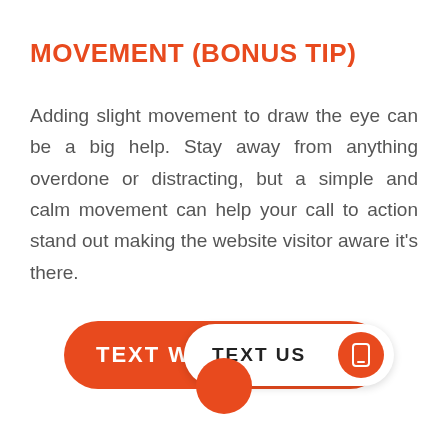MOVEMENT (BONUS TIP)
Adding slight movement to draw the eye can be a big help. Stay away from anything overdone or distracting, but a simple and calm movement can help your call to action stand out making the website visitor aware it's there.
[Figure (infographic): Two overlapping call-to-action buttons: a large orange pill-shaped button with white text 'TEXT WI...' partially visible, overlaid by a white pill-shaped button reading 'TEXT US' with an orange circle icon containing a phone/mobile icon. Below is a partially visible orange circle.]